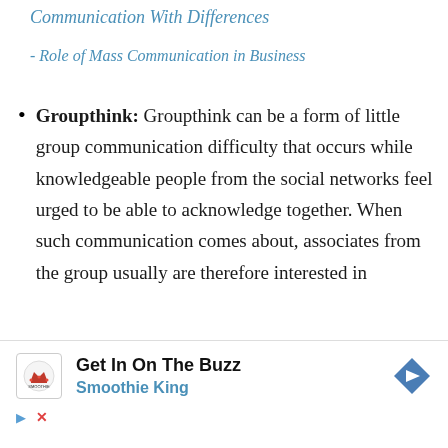Communication With Differences
- Role of Mass Communication in Business
Groupthink: Groupthink can be a form of little group communication difficulty that occurs while knowledgeable people from the social networks feel urged to be able to acknowledge together. When such communication comes about, associates from the group usually are therefore interested in
[Figure (other): Advertisement banner for Smoothie King with logo, headline 'Get In On The Buzz', subline 'Smoothie King', and navigation arrow icon]